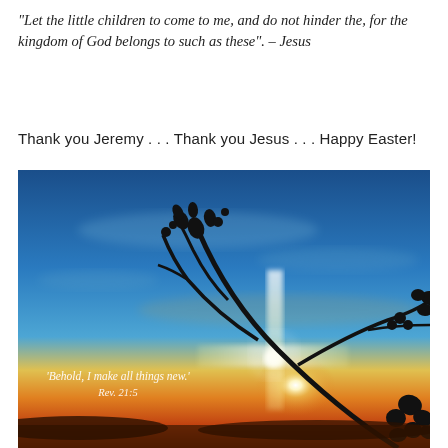“Let the little children to come to me, and do not hinder the, for the kingdom of God belongs to such as these”. – Jesus
Thank you Jeremy . . . Thank you Jesus . . . Happy Easter!
[Figure (photo): Silhouette of a plant branch with seed pods against a dramatic sky at sunset, featuring a glowing cross of light in the center. Text overlay reads 'Behold, I make all things new. Rev. 21:5'. Sky transitions from deep blue at top to golden yellow and orange at the horizon.]